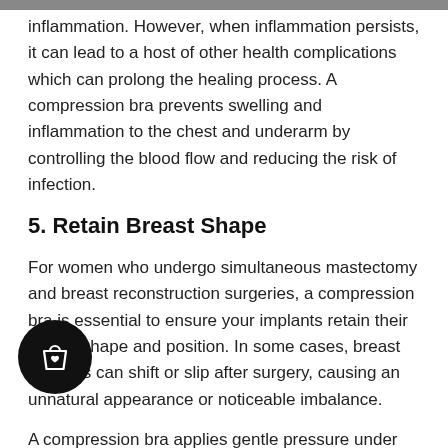inflammation. However, when inflammation persists, it can lead to a host of other health complications which can prolong the healing process. A compression bra prevents swelling and inflammation to the chest and underarm by controlling the blood flow and reducing the risk of infection.
5. Retain Breast Shape
For women who undergo simultaneous mastectomy and breast reconstruction surgeries, a compression bra is essential to ensure your implants retain their proper shape and position. In some cases, breast implants can shift or slip after surgery, causing an unnatural appearance or noticeable imbalance.
A compression bra applies gentle pressure under the arms and around the chest and features a more rigid shape than post-mastectomy bras which help to support newly reconstructed breast while they heal.
6. Facilitate Dressing